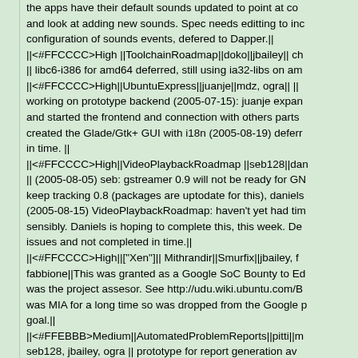the apps have their default sounds updated to point at co and look at adding new sounds. Spec needs editting to inc configuration of sounds events, defered to Dapper.|| ||<#FFCCCC>High ||ToolchainRoadmap||doko||jbailey|| ch || libc6-i386 for amd64 deferred, still using ia32-libs on am ||<#FFCCCC>High||UbuntuExpress||juanje||mdz, ogra|| || working on prototype backend (2005-07-15): juanje expan and started the frontend and connection with others parts created the Glade/Gtk+ GUI with i18n (2005-08-19) deferr in time. || ||<#FFCCCC>High||VideoPlaybackRoadmap ||seb128||dan || (2005-08-05) seb: gstreamer 0.9 will not be ready for GN keep tracking 0.8 (packages are uptodate for this), daniels (2005-08-15) VideoPlaybackRoadmap: haven't yet had tim sensibly. Daniels is hoping to complete this, this week. De issues and not completed in time.|| ||<#FFCCCC>High||("Xen")|| Mithrandir||Smurfix||jbailey, f fabbione||This was granted as a Google SoC Bounty to Ed was the project assesor. See http://udu.wiki.ubuntu.com/B was MIA for a long time so was dropped from the Google p goal.|| ||<#FFEBBB>Medium||AutomatedProblemReports||pitti||m seb128, jbailey, ogra || prototype for report generation av